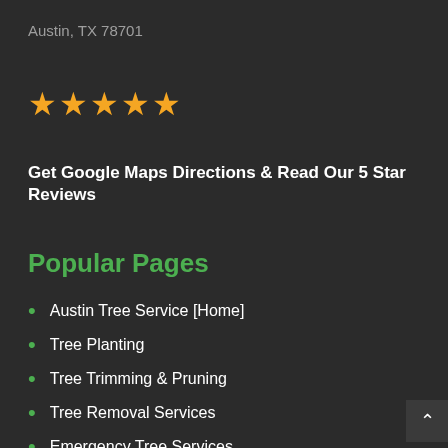Austin, TX 78701
[Figure (other): Five gold star rating icons]
Get Google Maps Directions & Read Our 5 Star Reviews
Popular Pages
Austin Tree Service [Home]
Tree Planting
Tree Trimming & Pruning
Tree Removal Services
Emergency Tree Services